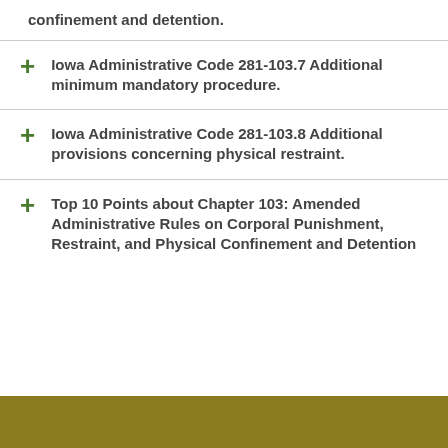confinement and detention.
Iowa Administrative Code 281-103.7 Additional minimum mandatory procedure.
Iowa Administrative Code 281-103.8 Additional provisions concerning physical restraint.
Top 10 Points about Chapter 103: Amended Administrative Rules on Corporal Punishment, Restraint, and Physical Confinement and Detention